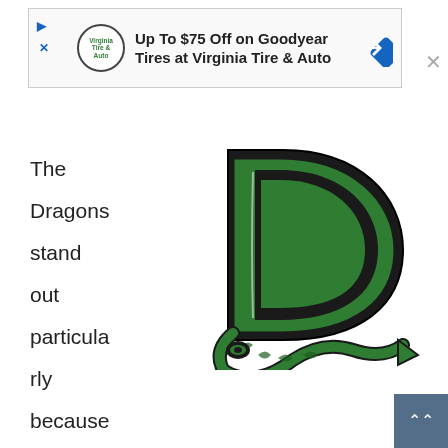[Figure (screenshot): Advertisement banner: 'Up To $75 Off on Goodyear Tires at Virginia Tire & Auto' with Virginia Tire & Auto logo and blue diamond arrow icon]
The Dragons stand out particularly because they play in the Midwest League, where many of the other teams' identities are based on local industry or lore, like
[Figure (logo): Dayton Dragons green letter D logo with dragon tail and scales, styled athletic team logo in dark green with black outline]